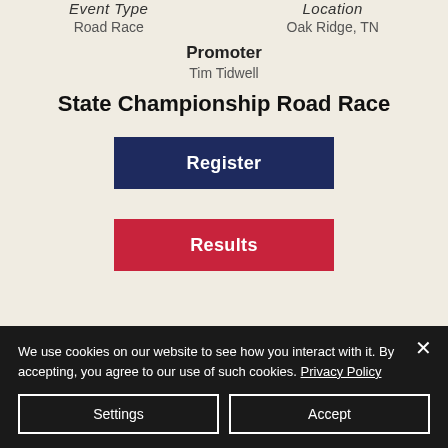Event Type: Road Race
Location: Oak Ridge, TN
Promoter
Tim Tidwell
State Championship Road Race
Register
Results
We use cookies on our website to see how you interact with it. By accepting, you agree to our use of such cookies. Privacy Policy
Settings
Accept